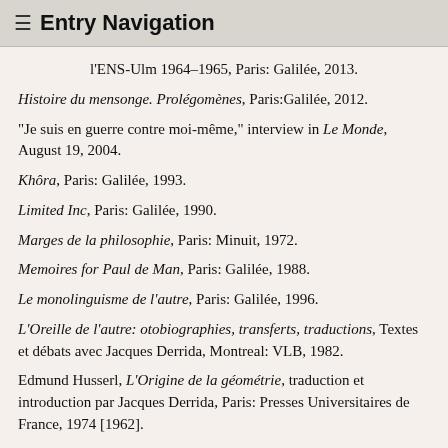≡ Entry Navigation
l'ENS-Ulm 1964–1965, Paris: Galilée, 2013.
Histoire du mensonge. Prolégomènes, Paris:Galilée, 2012.
"Je suis en guerre contre moi-même," interview in Le Monde, August 19, 2004.
Khôra, Paris: Galilée, 1993.
Limited Inc, Paris: Galilée, 1990.
Marges de la philosophie, Paris: Minuit, 1972.
Memoires for Paul de Man, Paris: Galilée, 1988.
Le monolinguisme de l'autre, Paris: Galilée, 1996.
L'Oreille de l'autre: otobiographies, transferts, traductions, Textes et débats avec Jacques Derrida, Montreal: VLB, 1982.
Edmund Husserl, L'Origine de la géométrie, traduction et introduction par Jacques Derrida, Paris: Presses Universitaires de France, 1974 [1962].
Papier Machine, Paris: Galilée, 2001.